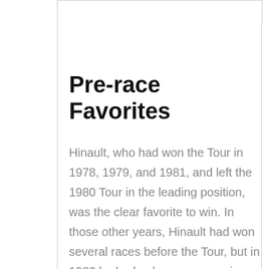Pre-race Favorites
Hinault, who had won the Tour in 1978, 1979, and 1981, and left the 1980 Tour in the leading position, was the clear favorite to win. In those other years, Hinault had won several races before the Tour, but in 1982 he had only won one major race, the 1982 Giro d'Italia. Hinault wanted to be the fourth cyclist, after Fausto Coppi,